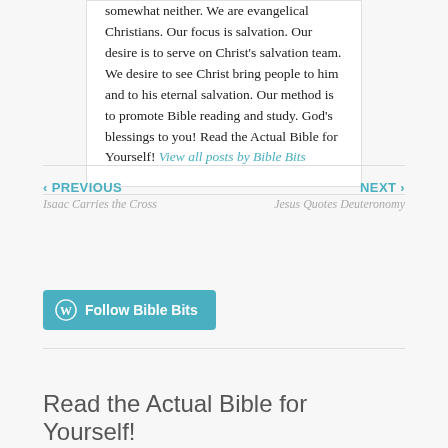somewhat neither. We are evangelical Christians. Our focus is salvation. Our desire is to serve on Christ's salvation team. We desire to see Christ bring people to him and to his eternal salvation. Our method is to promote Bible reading and study. God's blessings to you! Read the Actual Bible for Yourself! View all posts by Bible Bits
‹ PREVIOUS
Isaac Carries the Cross
NEXT ›
Jesus Quotes Deuteronomy
Follow Bible Bits
Read the Actual Bible for Yourself!